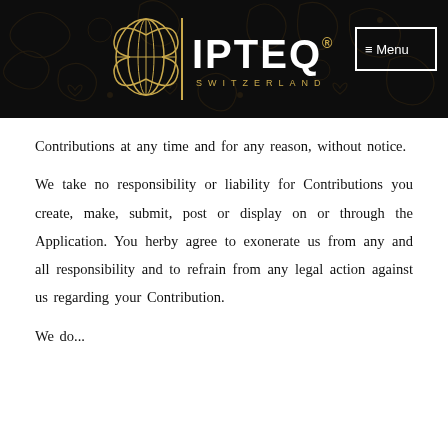[Figure (logo): IPTEQ Switzerland logo with golden butterfly/globe icon on dark ornamental background, with Menu button in top right]
Contributions at any time and for any reason, without notice.
We take no responsibility or liability for Contributions you create, make, submit, post or display on or through the Application. You herby agree to exonerate us from any and all responsibility and to refrain from any legal action against us regarding your Contribution.
We do not...